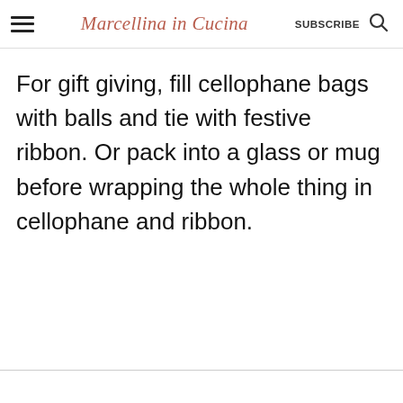Marcellina in Cucina  SUBSCRIBE
For gift giving, fill cellophane bags with balls and tie with festive ribbon. Or pack into a glass or mug before wrapping the whole thing in cellophane and ribbon.